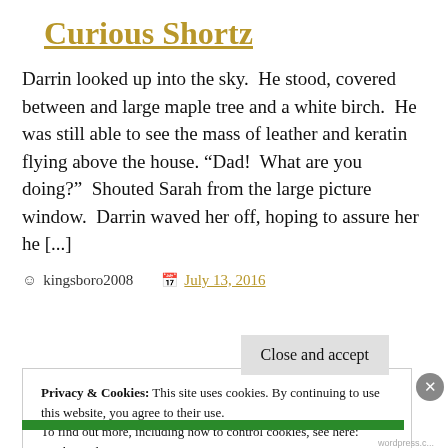Curious Shortz
Darrin looked up into the sky.  He stood, covered between and large maple tree and a white birch.  He was still able to see the mass of leather and keratin flying above the house.  “Dad!  What are you doing?”  Shouted Sarah from the large picture window.  Darrin waved her off, hoping to assure her he [...]
kingsboro2008   July 13, 2016
Privacy & Cookies: This site uses cookies. By continuing to use this website, you agree to their use.
To find out more, including how to control cookies, see here:
Cookie Policy
Close and accept